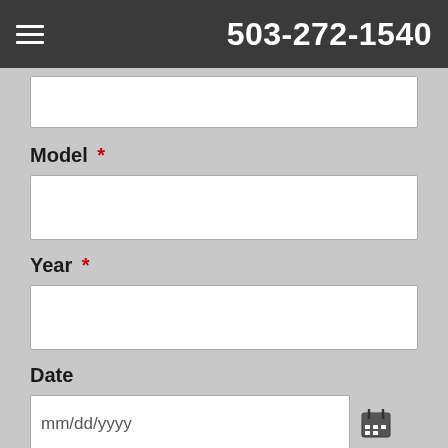503-272-1540
(partial input field — top crop)
Model *
(Model input field)
Year *
(Year input field)
Date
mm/dd/yyyy
Message *
(Message input field — bottom crop)